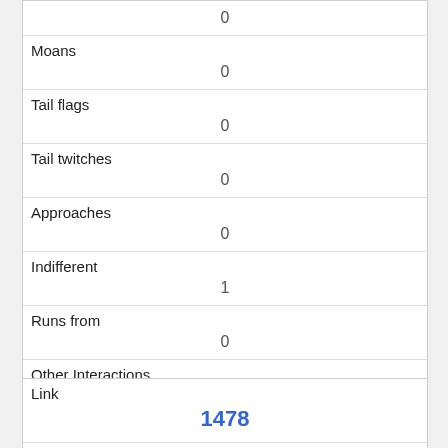|  | 0 |
| Moans | 0 |
| Tail flags | 0 |
| Tail twitches | 0 |
| Approaches | 0 |
| Indifferent | 1 |
| Runs from | 0 |
| Other Interactions |  |
| Lat/Long | POINT (-73.9582534432858 40.7917772296796) |
| Link | 1478 |
| #uid |  |